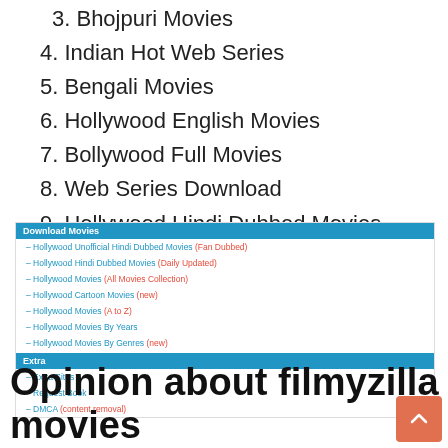3. Bhojpuri Movies
4. Indian Hot Web Series
5. Bengali Movies
6. Hollywood English Movies
7. Bollywood Full Movies
8. Web Series Download
9. Hollywood Hindi Dubbed Movies
10. Latest Indian TV Shows
[Figure (screenshot): Navigation menu box with blue header 'Download Movies' and links: Hollywood Unofficial Hindi Dubbed Movies (Fan Dubbed), Hollywood Hindi Dubbed Movies (Daily Updated), Hollywood Movies (All Movies Collection), Hollywood Cartoon Movies (new), Hollywood Movies (A to Z), Hollywood Movies By Years, Hollywood Movies By Genres (new). Second blue header 'Extra' with links: Extra Sites, Request Book, DMCA (content removal).]
Opinion about filmyzilla movies